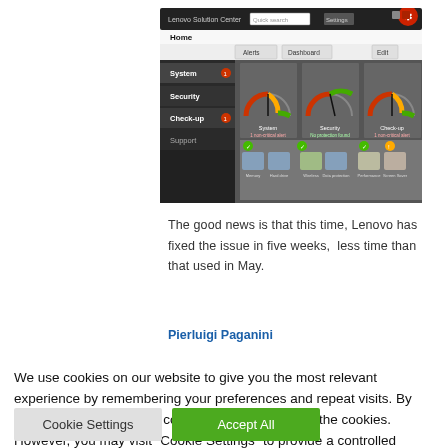[Figure (screenshot): Screenshot of Lenovo Solution Center application showing System, Security, and Check-up status gauges with icons below]
The good news is that this time, Lenovo has fixed the issue in five weeks,  less time than that used in May.
Pierluigi Paganini
We use cookies on our website to give you the most relevant experience by remembering your preferences and repeat visits. By clicking “Accept All”, you consent to the use of ALL the cookies. However, you may visit "Cookie Settings" to provide a controlled consent.